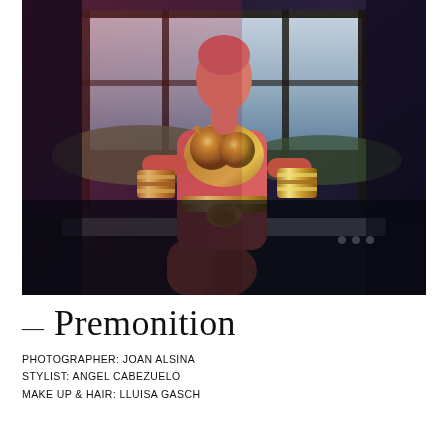[Figure (photo): Fashion photograph of a model wearing a futuristic gold metallic armored bodysuit with spiked breastplate, gold cuff bracelets, and a gold belt, posed seated in a dramatic industrial setting with reddish-pink lighting. The model has short hair and is posed with hands on hips against a large window with an outdoor background.]
— Premonition
PHOTOGRAPHER: JOAN ALSINA
STYLIST: ANGEL CABEZUELO
MAKE UP & HAIR: LLUISA GASCH